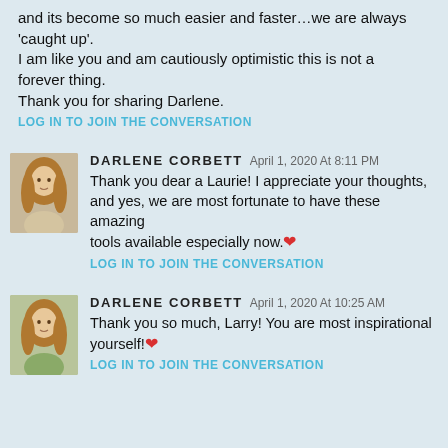and its become so much easier and faster…we are always 'caught up'.
I am like you and am cautiously optimistic this is not a forever thing.
Thank you for sharing Darlene.
LOG IN TO JOIN THE CONVERSATION
DARLENE CORBETT  April 1, 2020 At 8:11 PM
Thank you dear a Laurie! I appreciate your thoughts, and yes, we are most fortunate to have these amazing tools available especially now.❤
LOG IN TO JOIN THE CONVERSATION
DARLENE CORBETT  April 1, 2020 At 10:25 AM
Thank you so much, Larry! You are most inspirational yourself!❤
LOG IN TO JOIN THE CONVERSATION